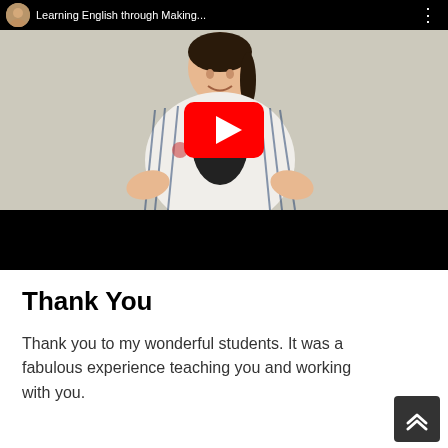[Figure (screenshot): YouTube video thumbnail showing a young Asian woman smiling, wearing a white striped floral cardigan over a black top, with hands extended forward. A large red YouTube play button is overlaid in the center. The top bar shows 'Learning English through Making...' with a small avatar thumbnail. There is a black bar at the bottom of the video player.]
Thank You
Thank you to my wonderful students. It was a fabulous experience teaching you and working with you.